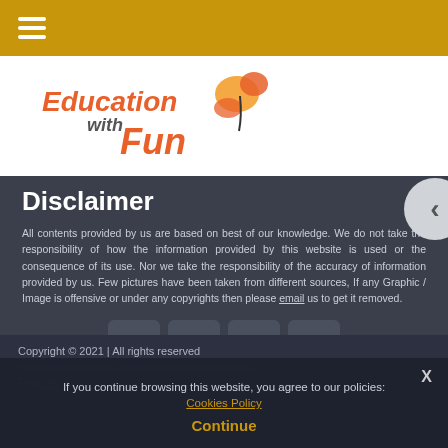☰ (hamburger menu)
[Figure (logo): Education with Fun logo — colorful text with butterfly graphic]
Disclaimer
All contents provided by us are based on best of our knowledge. We do not take the responsibility of how the information provided by this website is used or the consequence of its use. Nor we take the responsibility of the accuracy of information provided by us. Few pictures have been taken from different sources, If any Graphic / Image is offensive or under any copyrights then please email us to get it removed.
[Figure (illustration): Social media icons row: Facebook, Twitter, YouTube, LinkedIn]
Copyright © 2021 | All rights reserved
https://educationwithfun.com/disclaimer/privacy-policies/
Policies
If you continue browsing this website, you agree to our policies: Cookies Policy Continue